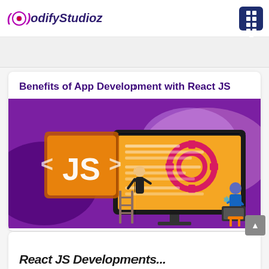CodifyStudioz
Benefits of App Development with React JS
[Figure (illustration): Illustration showing two developers working on a large monitor displaying JavaScript code editor with JS logo, gear icons, and React JS development theme on a purple background]
React JS Developments...